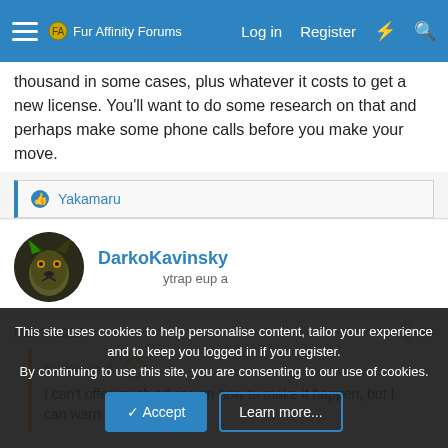Fur Affinity Forums | Log in | Register
thousand in some cases, plus whatever it costs to get a new license. You'll want to do some research on that and perhaps make some phone calls before you make your move.
Yakamaru
DarkoKavinsky
a pue party (mirrored text)
Mar 9, 2018
#8
Saiko said:
I can't offer much advice on how to make it happen, but I can warn
This site uses cookies to help personalise content, tailor your experience and to keep you logged in if you register.
By continuing to use this site, you are consenting to our use of cookies.